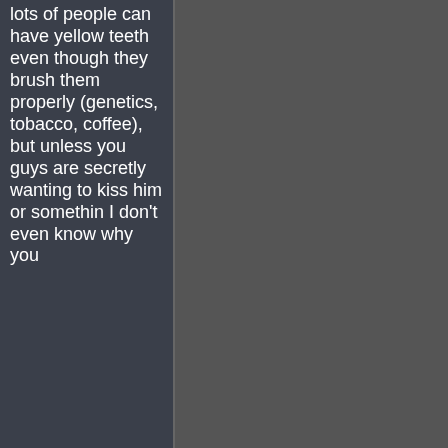lots of people can have yellow teeth even though they brush them properly (genetics, tobacco, coffee), but unless you guys are secretly wanting to kiss him or something I don't even know why you